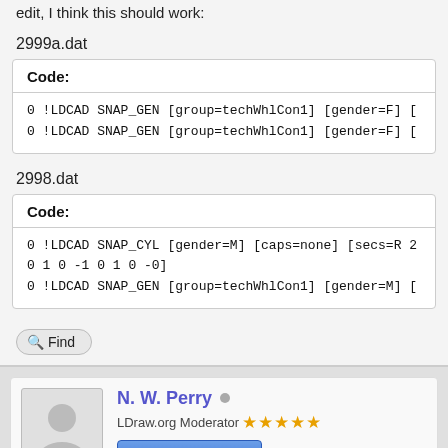edit, I think this should work:
2999a.dat
Code:
0 !LDCAD SNAP_GEN [group=techWhlCon1] [gender=F] [...]
0 !LDCAD SNAP_GEN [group=techWhlCon1] [gender=F] [...]
2998.dat
Code:
0 !LDCAD SNAP_CYL [gender=M] [caps=none] [secs=R 2...]
0 1 0 -1 0 1 0 -0]
0 !LDCAD SNAP_GEN [group=techWhlCon1] [gender=M] [...]
Find
N. W. Perry
LDraw.org Moderator ★★★★★
Part author